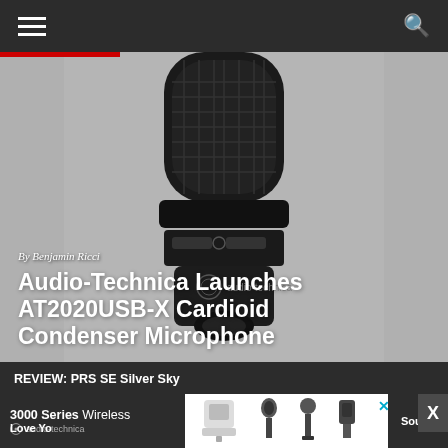Navigation bar with hamburger menu and search icon
[Figure (photo): Close-up photo of Audio-Technica AT2020USB-X cardioid condenser microphone against grey background]
By Benjamin Ricci
Audio-Technica Launches AT2020USB-X Cardioid Condenser Microphone
REVIEW: PRS SE Silver Sky
REVIEW: Phenyx Pro PTU-5000A 4-Channel Wireless Mic System
[Figure (infographic): Advertisement banner for Audio-Technica 3000 Series Wireless with product images of wireless microphone systems]
Love Yo Sound
3000 Series Wireless
audio-technica